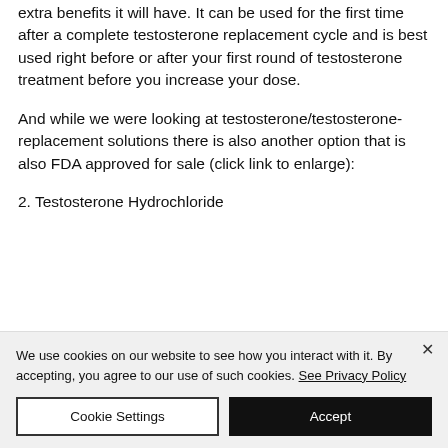extra benefits it will have. It can be used for the first time after a complete testosterone replacement cycle and is best used right before or after your first round of testosterone treatment before you increase your dose.
And while we were looking at testosterone/testosterone-replacement solutions there is also another option that is also FDA approved for sale (click link to enlarge):
2. Testosterone Hydrochloride
We use cookies on our website to see how you interact with it. By accepting, you agree to our use of such cookies. See Privacy Policy